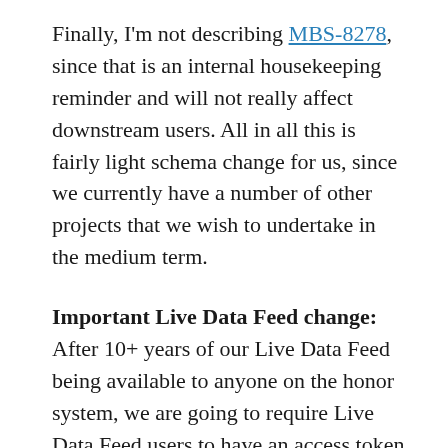Finally, I'm not describing MBS-8278, since that is an internal housekeeping reminder and will not really affect downstream users. All in all this is fairly light schema change for us, since we currently have a number of other projects that we wish to undertake in the medium term.
Important Live Data Feed change: After 10+ years of our Live Data Feed being available to anyone on the honor system, we are going to require Live Data Feed users to have an access token to fetch the replication packets for the Live Data Feed.
At the beginning of May we are going to release